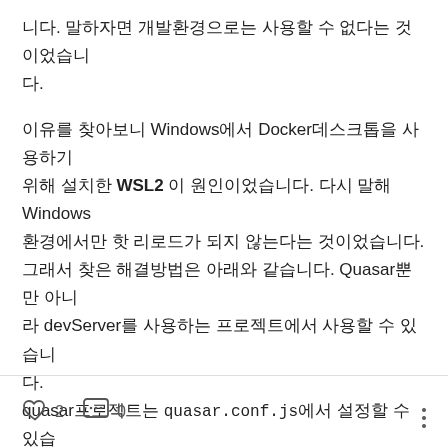니다. 말하자면 개발환경으로는 사용할 수 없다는 것이었습니다.
이유를 찾아보니 Windows에서 Docker데스크톱을 사용하기 위해 설치한 WSL2 이 원인이었습니다. 다시 말해 Windows 환경에서만 핫 리로드가 되지 않는다는 것이었습니다.
그래서 찾은 해결방법은 아래와 같습니다. Quasar뿐만 아니라 devServer를 사용하는 프로젝트에서 사용할 수 있습니다.
quasar프로젝트는 quasar.conf.js에서 설정할 수 있습니다. quasar.conf.js의 중간쯤에 devServer가 있습니다.
♡ 2   💬 0